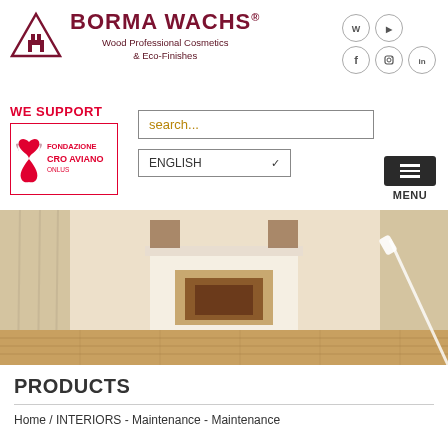[Figure (logo): Borma Wachs logo with triangular icon and text 'BORMA WACHS Wood Professional Cosmetics & Eco-Finishes']
[Figure (other): Social media icons: WhatsApp, YouTube, Facebook, Instagram, LinkedIn]
WE SUPPORT
[Figure (other): Fondazione CRO Aviano ONLUS logo with pink ribbon and angel wings]
search...
ENGLISH
MENU
[Figure (photo): Interior room photo showing a living space with wooden floor, fireplace and white curtains]
PRODUCTS
Home / INTERIORS - Maintenance - Maintenance